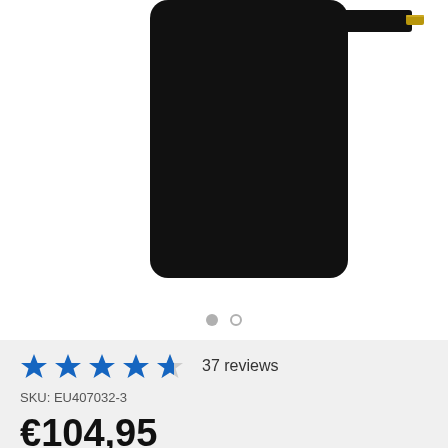[Figure (photo): Product photo of a black smartphone LCD screen/display assembly with a flex cable connector tab extending to the upper right. The screen panel is black with rounded corners. A gold-colored connector is visible at the tip of the flex cable.]
37 reviews
SKU: EU407032-3
€104,95